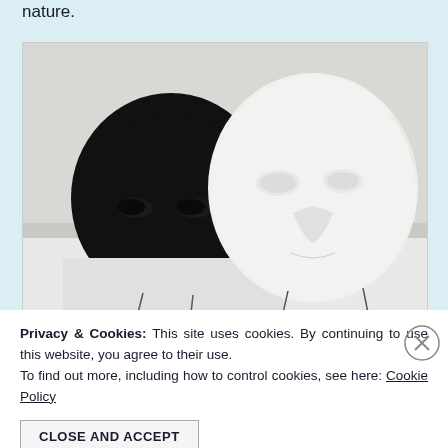nature.
[Figure (photo): Two masquerade masks side by side on stands against a light gray background. Left mask is black (half-face style with eye holes). Right mask is white (full-face style with eye holes and nose bridge detail).]
Privacy & Cookies: This site uses cookies. By continuing to use this website, you agree to their use.
To find out more, including how to control cookies, see here: Cookie Policy
CLOSE AND ACCEPT